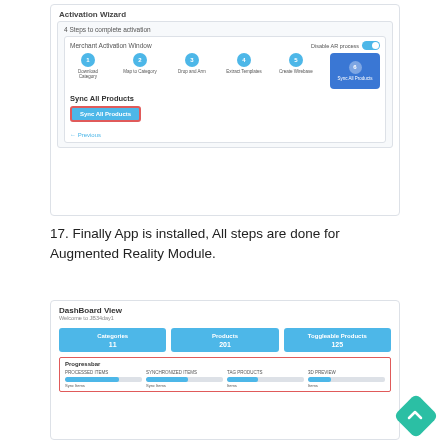[Figure (screenshot): Activation Wizard UI screenshot showing 6 steps with 'Sync All Products' highlighted and a Sync All Products button with red border outline]
17. Finally App is installed, All steps are done for Augmented Reality Module.
[Figure (screenshot): DashBoard View screenshot showing Categories (11), Products (201), Toggleable Products (125) cards, and a Progressbar section with red border outline showing Processed Items, Synchronized Items, Tag Products, and 3D Preview columns]